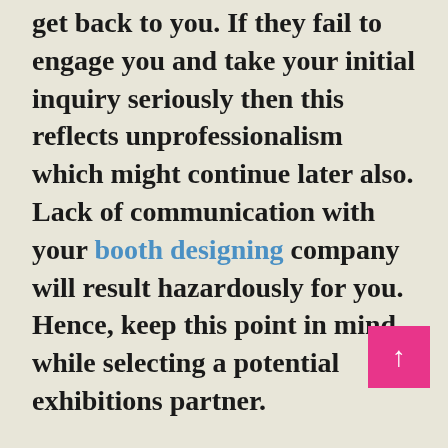get back to you. If they fail to engage you and take your initial inquiry seriously then this reflects unprofessionalism which might continue later also. Lack of communication with your booth designing company will result hazardously for you. Hence, keep this point in mind while selecting a potential exhibitions partner.
Has the company provided a fully detailed...